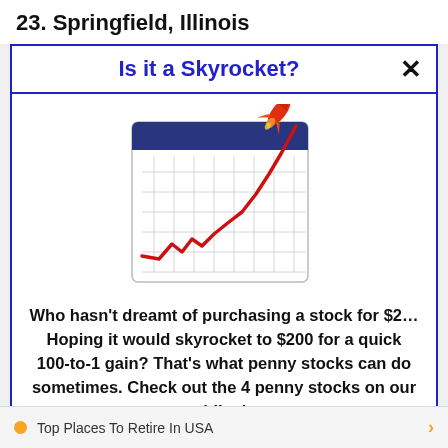23. Springfield, Illinois
Is it a Skyrocket?
[Figure (illustration): Illustration of a chart with a rising red line skyrocketing upward off a grid-lined calendar/chart board, with a red rocket at the top right corner.]
Who hasn't dreamt of purchasing a stock for $2… Hoping it would skyrocket to $200 for a quick 100-to-1 gain? That's what penny stocks can do sometimes. Check out the 4 penny stocks on our watchlist here.
>>> See The List <<<
Top Places To Retire In USA